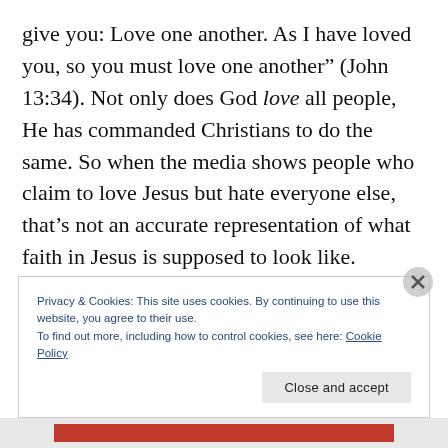give you: Love one another. As I have loved you, so you must love one another” (John 13:34). Not only does God love all people, He has commanded Christians to do the same. So when the media shows people who claim to love Jesus but hate everyone else, that’s not an accurate representation of what faith in Jesus is supposed to look like.
Privacy & Cookies: This site uses cookies. By continuing to use this website, you agree to their use.
To find out more, including how to control cookies, see here: Cookie Policy